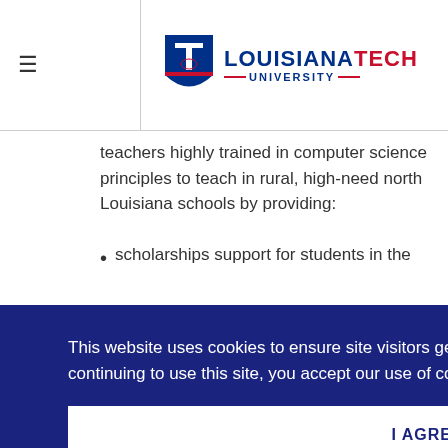Louisiana Tech University
teachers highly trained in computer science principles to teach in rural, high-need north Louisiana schools by providing:
scholarships support for students in the
This website uses cookies to ensure site visitors get the best experience on our website. By continuing to use this site, you accept our use of cookies and Privacy Statement. Learn more
I AGREE
The program will be open to Louisiana Tech